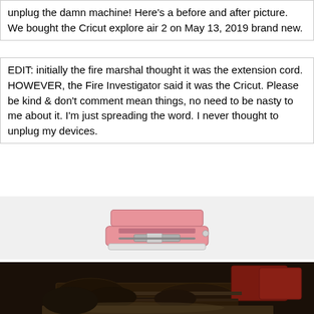unplug the damn machine! Here's a before and after picture. We bought the Cricut explore air 2 on May 13, 2019 brand new.
EDIT: initially the fire marshal thought it was the extension cord. HOWEVER, the Fire Investigator said it was the Cricut. Please be kind & don't comment mean things, no need to be nasty to me about it. I'm just spreading the word. I never thought to unplug my devices.
[Figure (photo): Pink Cricut Explore Air 2 cutting machine, shown new and intact]
[Figure (photo): Burned and charred remains of a Cricut cutting machine after a fire]